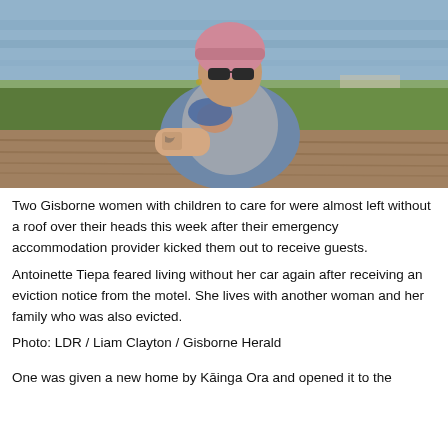[Figure (photo): A woman wearing sunglasses and a pink knit hat, holding a blue bandana to her face, leaning on a weathered wooden picnic table outdoors near a body of water with green grass in the background.]
Two Gisborne women with children to care for were almost left without a roof over their heads this week after their emergency accommodation provider kicked them out to receive guests.
Antoinette Tiepa feared living without her car again after receiving an eviction notice from the motel. She lives with another woman and her family who was also evicted.
Photo: LDR / Liam Clayton / Gisborne Herald
One was given a new home by Kāinga Ora and opened it to the